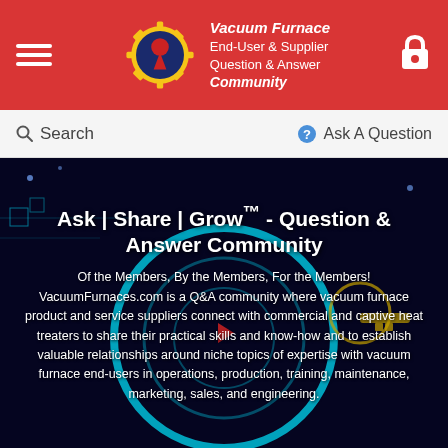[Figure (logo): Red hamburger menu icon on left, Vacuum Furnace community logo (gear with keyhole) in center, lock icon on right, all on red background header]
Vacuum Furnace End-User & Supplier Question & Answer Community
Search   Ask A Question
Ask | Share | Grow™ - Question & Answer Community
Of the Members, By the Members, For the Members! VacuumFurnaces.com is a Q&A community where vacuum furnace product and service suppliers connect with commercial and captive heat treaters to share their practical skills and know-how and to establish valuable relationships around niche topics of expertise with vacuum furnace end-users in operations, production, training, maintenance, marketing, sales, and engineering.